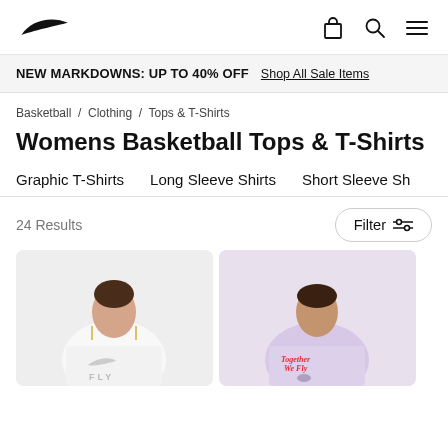Nike logo, bag icon, search icon, menu icon
NEW MARKDOWNS: UP TO 40% OFF   Shop All Sale Items
Basketball / Clothing / Tops & T-Shirts
Womens Basketball Tops & T-Shirts
Graphic T-Shirts
Long Sleeve Shirts
Short Sleeve Sh…
24 Results
Filter
[Figure (photo): Two product cards showing models wearing basketball tops: left model wears a white graphic tee with Nike swoosh and FLY text; right model wears a lavender tee with 'Together We Fly' graphic.]